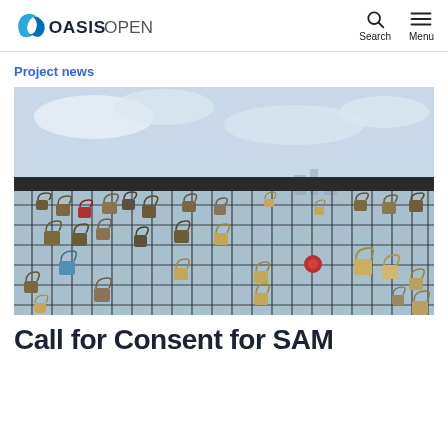OASIS OPEN
Project news
[Figure (photo): Photograph of many padlocks of various sizes and colors attached to a metal grid fence, with a body of water and cityscape visible in the background.]
Call for Consent for SAM